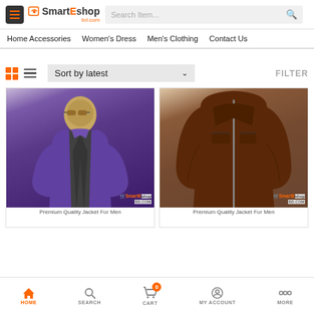SmartEshop bd.com — Search Item...
Home Accessories  Women's Dress  Men's Clothing  Contact Us
Sort by latest  FILTER
[Figure (photo): Man wearing a purple leather jacket with sunglasses, SmartEshop watermark]
[Figure (photo): Dark brown leather jacket on display, SmartEshop watermark]
Premium Quality Jacket For Men
Premium Quality Jacket For Men
HOME  SEARCH  CART 0  MY ACCOUNT  MORE